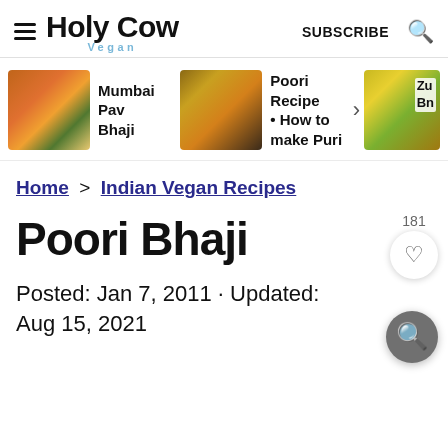Holy Cow Vegan — SUBSCRIBE
[Figure (photo): Carousel with three food thumbnails: Mumbai Pav Bhaji, Poori Recipe • How to make Puri, and a partially visible third item]
Home > Indian Vegan Recipes
Poori Bhaji
Posted: Jan 7, 2011 · Updated: Aug 15, 2021